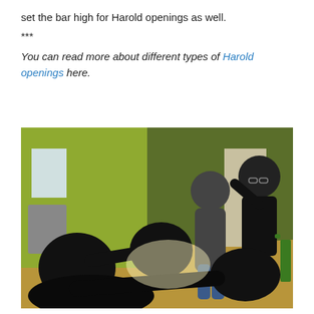set the bar high for Harold openings as well.
***
You can read more about different types of Harold openings here.
[Figure (photo): Group of people doing an improv theater exercise in a room with green walls. Several performers are interacting physically — some standing, some seated or crouching — in what appears to be a workshop or rehearsal space.]